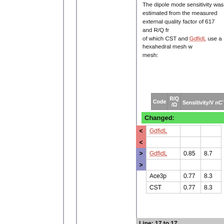The dipole mode sensitivity was estimated from the measured external quality factor of 617 and R/Q from of which CST and GdfidL use a hexahedral mesh w mesh:
| Code | R/Q /Ω | Sensitivity/V nC⁻¹ mm⁻¹ |
| --- | --- | --- |
Changed:
|  | Code | R/Q /Ω | Sensitivity/V nC⁻¹ mm⁻¹ |
| --- | --- | --- | --- |
| < | GdfidL |  |  |
| < |  |  |  |
| > | GdfidL | 0.85 | 8.7 |
| > |  |  |  |
| Code | R/Q /Ω | Sensitivity/V nC⁻¹ mm⁻¹ |
| --- | --- | --- |
| Ace3p | 0.77 | 8.3 |
| CST | 0.77 | 8.3 |
Line: 17 to 17
The measured external quality factor of the referen
| Code | R/Q /Ω | Sensitivity/V nC⁻¹ |
| --- | --- | --- |
Changed: